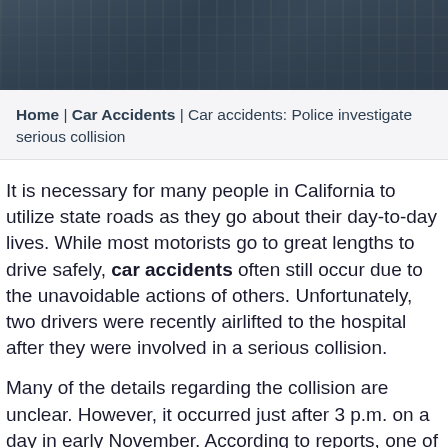[Figure (photo): Hero image of a street/building scene with dark overlay, likely a city road or intersection]
Home | Car Accidents | Car accidents: Police investigate serious collision
It is necessary for many people in California to utilize state roads as they go about their day-to-day lives. While most motorists go to great lengths to drive safely, car accidents often still occur due to the unavoidable actions of others. Unfortunately, two drivers were recently airlifted to the hospital after they were involved in a serious collision.
Many of the details regarding the collision are unclear. However, it occurred just after 3 p.m. on a day in early November. According to reports, one of the vehicles